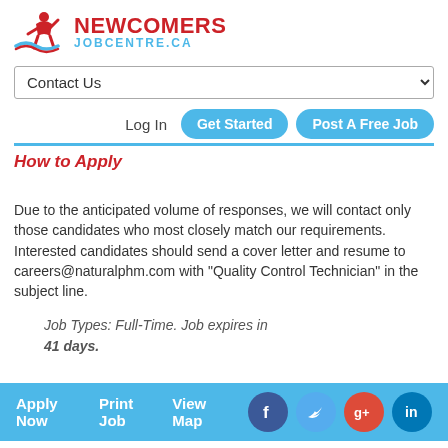[Figure (logo): Newcomers Job Centre logo with stylized figure and wave icon, red and blue colors]
Contact Us (dropdown)
Log In | Get Started | Post A Free Job
How to Apply
Due to the anticipated volume of responses, we will contact only those candidates who most closely match our requirements. Interested candidates should send a cover letter and resume to careers@naturalphm.com with "Quality Control Technician" in the subject line.
Job Types: Full-Time. Job expires in 41 days.
Apply Now  Print Job  View Map
Submit a Job
Starting at $19.99 for 30 days